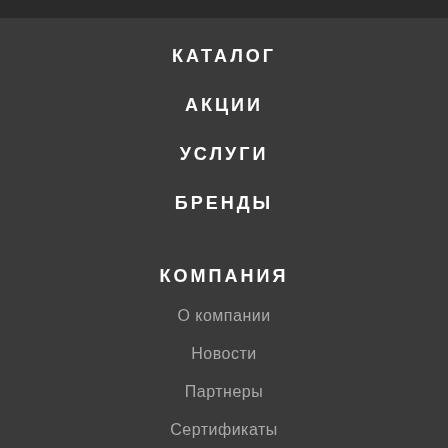КАТАЛОГ
АКЦИИ
УСЛУГИ
БРЕНДЫ
КОМПАНИЯ
О компании
Новости
Партнеры
Сертификаты
Вакансии